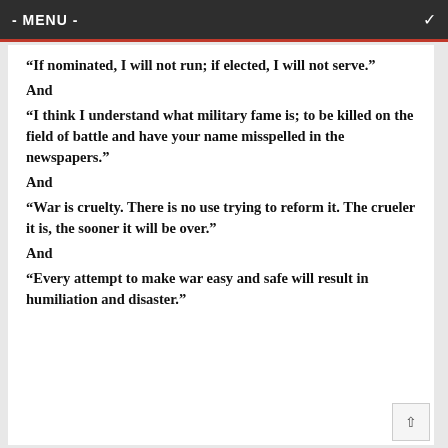- MENU -
“If nominated, I will not run; if elected, I will not serve.”
And
“I think I understand what military fame is; to be killed on the field of battle and have your name misspelled in the newspapers.”
And
“War is cruelty. There is no use trying to reform it. The crueler it is, the sooner it will be over.”
And
“Every attempt to make war easy and safe will result in humiliation and disaster.”